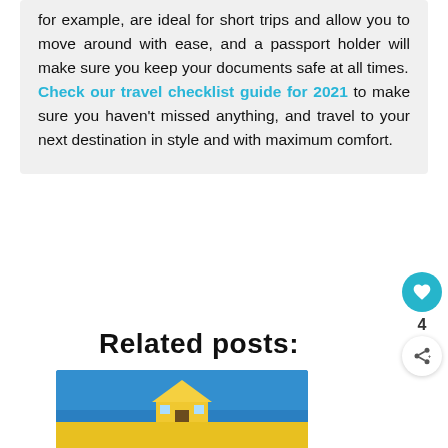for example, are ideal for short trips and allow you to move around with ease, and a passport holder will make sure you keep your documents safe at all times. Check our travel checklist guide for 2021 to make sure you haven't missed anything, and travel to your next destination in style and with maximum comfort.
Related posts:
[Figure (photo): Preview image of a building with yellow roof against a blue sky]